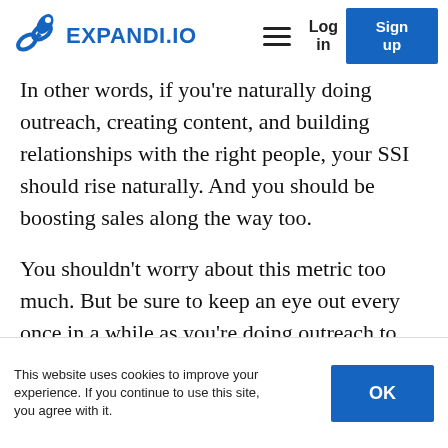[Figure (logo): Expandi.io logo with rocket icon and blue text]
In other words, if you're naturally doing outreach, creating content, and building relationships with the right people, your SSI should rise naturally. And you should be boosting sales along the way too.
You shouldn't worry about this metric too much. But be sure to keep an eye out every once in a while as you're doing outreach to see if there's anything specific you should focus on to establish yourself as an authority figure.
This website uses cookies to improve your experience. If you continue to use this site, you agree with it.